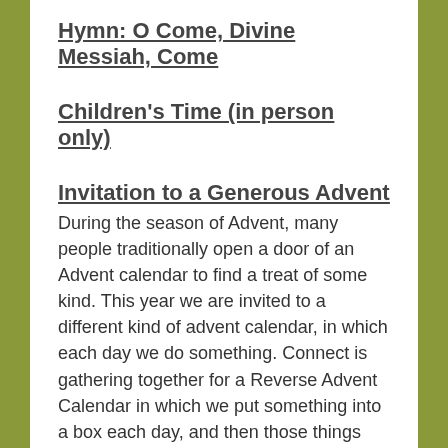Hymn: O Come, Divine Messiah, Come
Children's Time (in person only)
Invitation to a Generous Advent
During the season of Advent, many people traditionally open a door of an Advent calendar to find a treat of some kind. This year we are invited to a different kind of advent calendar, in which each day we do something. Connect is gathering together for a Reverse Advent Calendar in which we put something into a box each day, and then those things are donated to the food bank and starter packs — these will be collected at our family film night on Saturday the 18th at 4pm at the Lyle Kirk, or you can bring them to church or the manse that